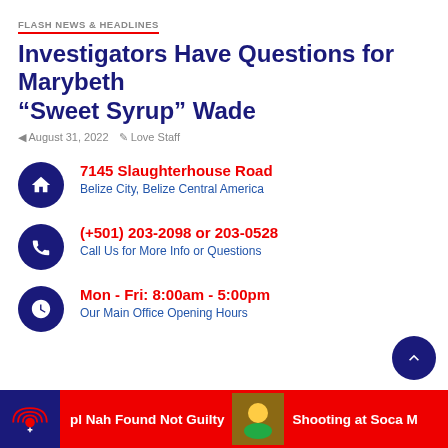FLASH NEWS & HEADLINES
Investigators Have Questions for Marybeth “Sweet Syrup” Wade
August 31, 2022   Love Staff
7145 Slaughterhouse Road
Belize City, Belize Central America
(+501) 203-2098 or 203-0528
Call Us for More Info or Questions
Mon - Fri: 8:00am - 5:00pm
Our Main Office Opening Hours
pl Nah Found Not Guilty   Shooting at Soca M